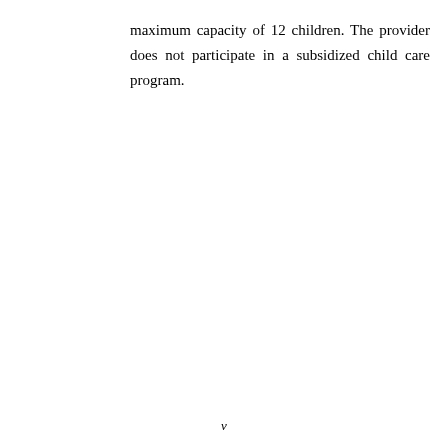maximum capacity of 12 children. The provider does not participate in a subsidized child care program.
v